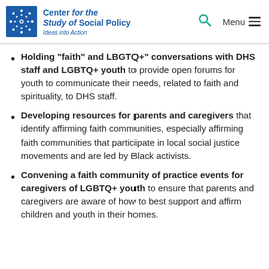Center for the Study of Social Policy — Ideas into Action
Holding “faith” and LBGTQ+” conversations with DHS staff and LGBTQ+ youth to provide open forums for youth to communicate their needs, related to faith and spirituality, to DHS staff.
Developing resources for parents and caregivers that identify affirming faith communities, especially affirming faith communities that participate in local social justice movements and are led by Black activists.
Convening a faith community of practice events for caregivers of LGBTQ+ youth to ensure that parents and caregivers are aware of how to best support and affirm children and youth in their homes.